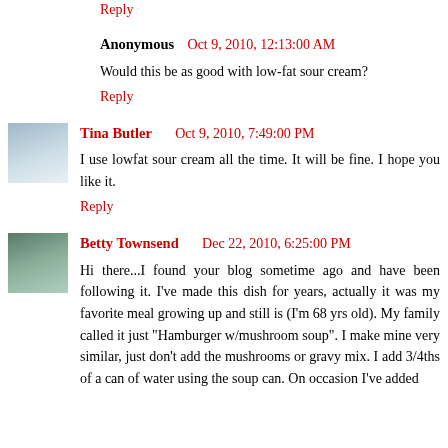Reply
Anonymous  Oct 9, 2010, 12:13:00 AM
Would this be as good with low-fat sour cream?
Reply
Tina Butler   Oct 9, 2010, 7:49:00 PM
I use lowfat sour cream all the time. It will be fine. I hope you like it.
Reply
Betty Townsend  Dec 22, 2010, 6:25:00 PM
Hi there...I found your blog sometime ago and have been following it. I've made this dish for years, actually it was my favorite meal growing up and still is (I'm 68 yrs old). My family called it just "Hamburger w/mushroom soup". I make mine very similar, just don't add the mushrooms or gravy mix. I add 3/4ths of a can of water using the soup can. On occasion I've added